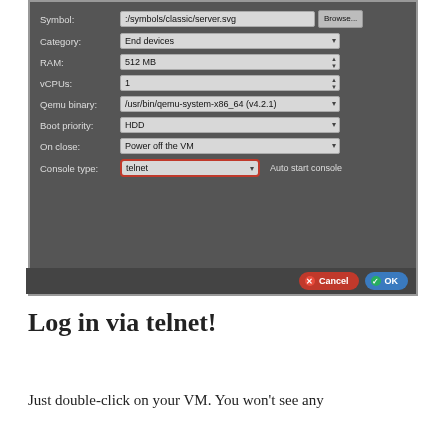[Figure (screenshot): GNS3 VM configuration dialog showing fields: Symbol (:/symbols/classic/server.svg), Category (End devices), RAM (512 MB), vCPUs (1), Qemu binary (/usr/bin/qemu-system-x86_64 v4.2.1), Boot priority (HDD), On close (Power off the VM), Console type (telnet, highlighted with red border), Auto start console checkbox, Cancel and OK buttons.]
Log in via telnet!
Just double-click on your VM. You won't see any